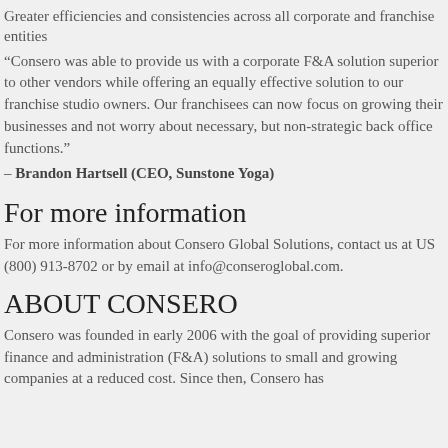Greater efficiencies and consistencies across all corporate and franchise entities
“Consero was able to provide us with a corporate F&A solution superior to other vendors while offering an equally effective solution to our franchise studio owners. Our franchisees can now focus on growing their businesses and not worry about necessary, but non-strategic back office functions.”
– Brandon Hartsell (CEO, Sunstone Yoga)
For more information
For more information about Consero Global Solutions, contact us at US (800) 913-8702 or by email at info@conseroglobal.com.
ABOUT CONSERO
Consero was founded in early 2006 with the goal of providing superior finance and administration (F&A) solutions to small and growing companies at a reduced cost. Since then, Consero has